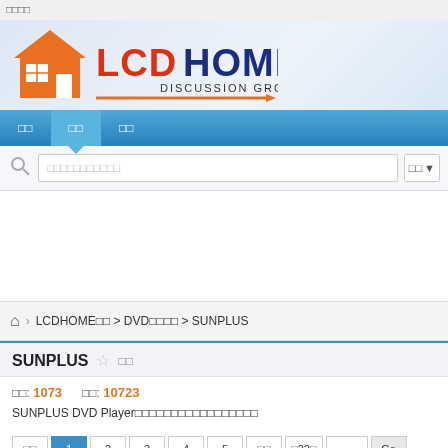□□□□
[Figure (logo): LCD HOME Discussion Group logo with orange house icon and bold red/blue LCD HOME text, orange underline arrow]
□□  □□  □□  (navigation bar items)
□□□□□□□□□□□ (search input placeholder)
LCDHOME□□ > DVD□□□□ > SUNPLUS (breadcrumb)
SUNPLUS
□□: 1073    □□: 10723
SUNPLUS DVD Player□□□□□□□□□□□□□□□□□
□□  1  2  3  4  5  □□  □22□  [input]  Go  □□□□□  □□ (pagination)